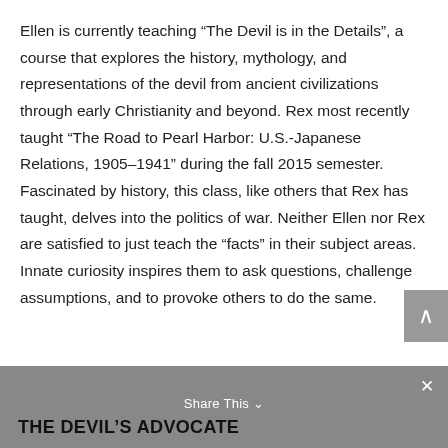Ellen is currently teaching “The Devil is in the Details”, a course that explores the history, mythology, and representations of the devil from ancient civilizations through early Christianity and beyond. Rex most recently taught “The Road to Pearl Harbor: U.S.-Japanese Relations, 1905–1941” during the fall 2015 semester. Fascinated by history, this class, like others that Rex has taught, delves into the politics of war. Neither Ellen nor Rex are satisfied to just teach the “facts” in their subject areas. Innate curiosity inspires them to ask questions, challenge assumptions, and to provoke others to do the same.
Share This ∨× THE DEVIL’S ADVOCATE